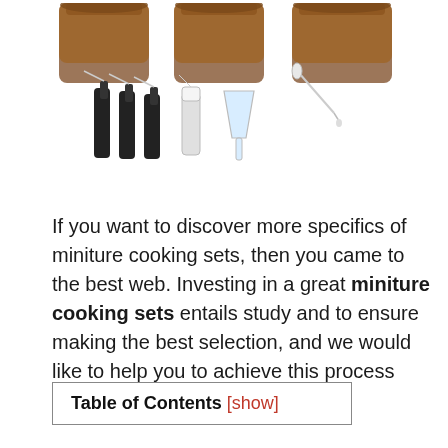[Figure (photo): Product photo showing amber glass bottles/jars at the top, with small spray bottles, a clear funnel, and a dropper pipette below them on a white background.]
If you want to discover more specifics of miniture cooking sets, then you came to the best web. Investing in a great miniture cooking sets entails study and to ensure making the best selection, and we would like to help you to achieve this process with good results.
| Table of Contents [show] |
| --- |